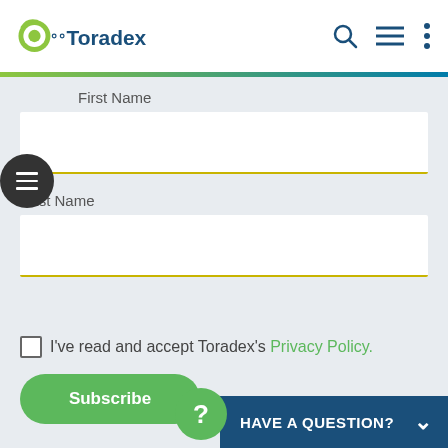[Figure (logo): Toradex logo with green circular arrow icon and blue text]
First Name
Last Name
I've read and accept Toradex's Privacy Policy.
Subscribe
HAVE A QUESTION?